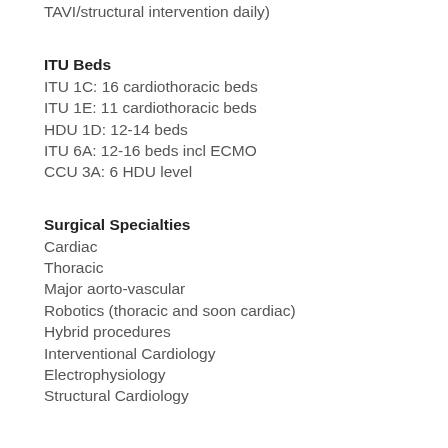TAVI/structural intervention daily)
ITU Beds
ITU 1C: 16 cardiothoracic beds
ITU 1E: 11 cardiothoracic beds
HDU 1D: 12-14 beds
ITU 6A: 12-16 beds incl ECMO
CCU 3A: 6 HDU level
Surgical Specialties
Cardiac
Thoracic
Major aorto-vascular
Robotics (thoracic and soon cardiac)
Hybrid procedures
Interventional Cardiology
Electrophysiology
Structural Cardiology